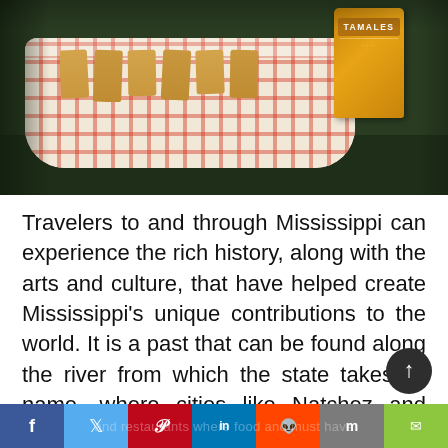[Figure (photo): Photo of tamales in a red-and-white checkered basket/wrapper with a yellow can labeled TAMALES in the background, on a dark green surface]
Travelers to and through Mississippi can experience the rich history, along with the arts and culture, that have helped create Mississippi's unique contributions to the world. It is a past that can be found along the river from which the state takes its name, where cities like Natchez and Vicksburg blend past and present to create an experience for all tastes. It is on the Natchez Trace, a 444-mile scenic drive stretching through the state, or in juke joints and restaurants where food and must have